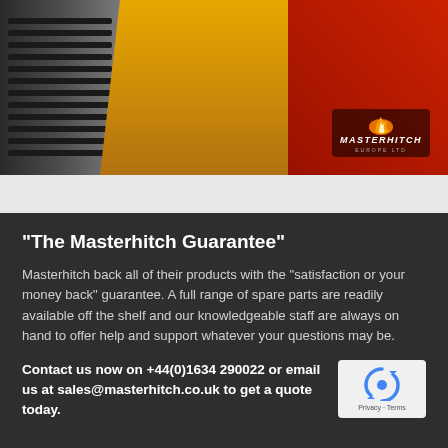[Figure (photo): Close-up photo of construction/excavator equipment showing rubber tracks on the left, yellow hydraulic arm in the center, and red attachment on the right. Masterhitch Europe logo visible in bottom-right of image.]
“The Masterhitch Guarantee”
Masterhitch back all of their products with the “satisfaction or your money back” guarantee. A full range of spare parts are readily available off the shelf and our knowledgeable staff are always on hand to offer help and support whatever your questions may be.
Contact us now on +44(0)1634 290022 or email us at sales@masterhitch.co.uk to get a quote today.